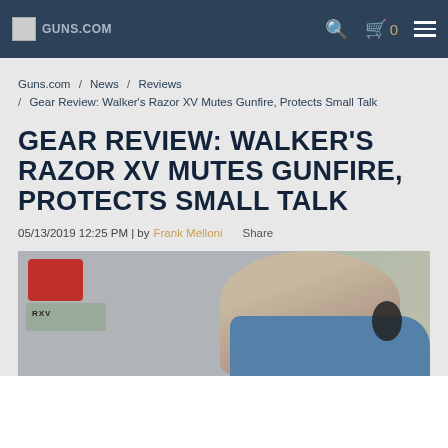Guns.com navigation bar with logo, search, cart (0), and menu icons
Guns.com / News / Reviews / Gear Review: Walker's Razor XV Mutes Gunfire, Protects Small Talk
GEAR REVIEW: WALKER'S RAZOR XV MUTES GUNFIRE, PROTECTS SMALL TALK
05/13/2019 12:25 PM | by Frank Melloni   Share
[Figure (photo): Photo of a person wearing Walker's Razor XV electronic earmuffs at a shooting range, with red gun equipment visible on the left and outdoor scenery in the background]